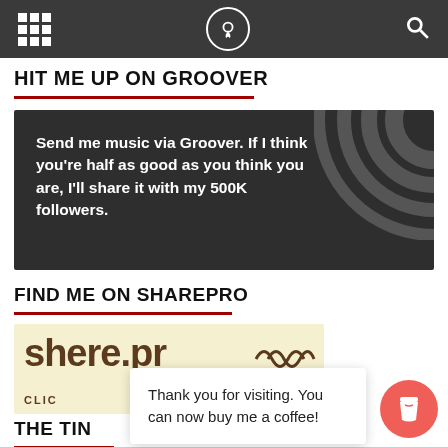Navigation bar with grid menu, logo, and search icon
HIT ME UP ON GROOVER
Send me music via Groover. If I think you're half as good as you think you are, I'll share it with my 500K followers.
FIND ME ON SHAREPRO
[Figure (logo): SharePro logo on cream/yellow background with CLICK text below]
THE TIN
Thank you for visiting. You can now buy me a coffee!
[Figure (illustration): Buy me a coffee circular red button with coffee cup icon]